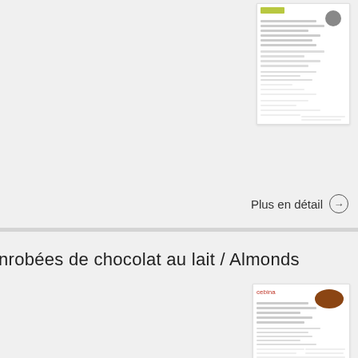[Figure (screenshot): Thumbnail of a product document with small logo and text, partially visible at top right]
Plus en détail →
nrobées de chocolat au lait / Almonds
[Figure (screenshot): Thumbnail of a product document showing Cebina brand with chocolate almonds image]
Plus en détail →
nlijst
[Figure (screenshot): Thumbnail of a document with dark header columns, partially visible at bottom right]